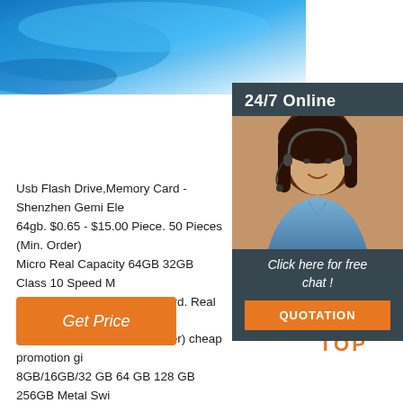[Figure (illustration): Blue gradient hero banner image area at top left, representing a USB flash drive product]
[Figure (photo): 24/7 Online customer service panel on the right side with a woman wearing a headset, dark background with 'Click here for free chat!' and an orange QUOTATION button]
Usb Flash Drive,Memory Card - Shenzhen Gemi Ele 64gb. $0.65 - $15.00 Piece. 50 Pieces (Min. Order) Micro Real Capacity 64GB 32GB Class 10 Speed M Mobile TF Card. Micro Sd Card. Real Capacity. $0.5 Piece. 50.0 Pieces (Min. Order) cheap promotion gi 8GB/16GB/32 GB 64 GB 128 GB 256GB Metal Swi Flash Drive with PP box.
[Figure (illustration): Orange 'Get Price' button at bottom left]
[Figure (logo): Orange TOP logo with dots arranged in a triangle at bottom right]